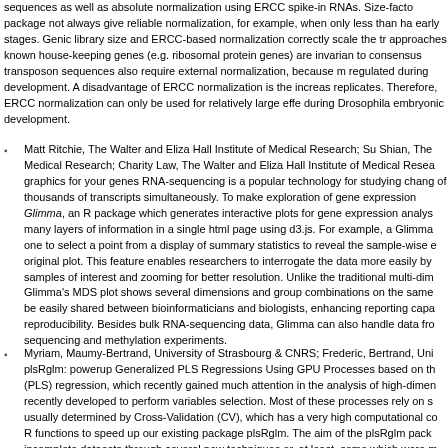sequences as well as absolute normalization using ERCC spike-in RNAs. Size-factor based methods from the DESeq2 package not always give reliable normalization, for example, when only less than half of the transcriptome is expressed in the early stages. Genic library size and ERCC-based normalization correctly scale the transcriptome in this case. Other approaches known house-keeping genes (e.g. ribosomal protein genes) are invariant across conditions, but reads mapping to consensus transposon sequences also require external normalization, because many transposons are being regulated during development. A disadvantage of ERCC normalization is the increased variability across sequencing replicates. Therefore, ERCC normalization can only be used for relatively large effects such as the global changes during Drosophila embryonic development.
Matt Ritchie, The Walter and Eliza Hall Institute of Medical Research; Su Shian, The Walter and Eliza Hall Institute of Medical Research; Charity Law, The Walter and Eliza Hall Institute of Medical Research: Interactive graphics for your genes RNA-sequencing is a popular technology for studying changes in the expression of thousands of transcripts simultaneously. To make exploration of gene expression data easier we present Glimma, an R package which generates interactive plots for gene expression analysis. Glimma embeds many layers of information in a single html page using d3.js. For example, a Glimma plot allows the analyst one to select a point from a display of summary statistics to reveal the sample-wise expression in a linked original plot. This feature enables researchers to interrogate the data more easily by highlighting specific samples of interest and zooming for better resolution. Unlike the traditional multi-dimensional scaling plots, Glimma's MDS plot shows several dimensions and group combinations on the same page. These plots can be easily shared between bioinformaticians and biologists, enhancing reporting capabilities and reproducibility. Besides bulk RNA-sequencing data, Glimma can also handle data from single-cell RNA-sequencing and methylation experiments.
Myriam, Maumy-Bertrand, University of Strasbourg & CNRS; Frederic, Bertrand, University of Strasbourg & CNRS: plsRglm: powerup Generalized PLS Regressions Using GPU Processes based on the Partial Least Squares (PLS) regression, which recently gained much attention in the analysis of high-dimensional data. A number of methods recently developed to perform variables selection. Most of these processes rely on so called sparse models usually determined by Cross-Validation (CV), which has a very high computational cost. We propose to use GPU R functions to speed up our existing package plsRglm. The aim of the plsRglm package is to handle incomplete datasets through several new techniques or, at least, some which were not available in R, since it not only does it make available the extension of the PLS regression to the generalized linear models framework but also bootstrap techniques, leave-one-out and repeated k-fold cross-validation. In addition,